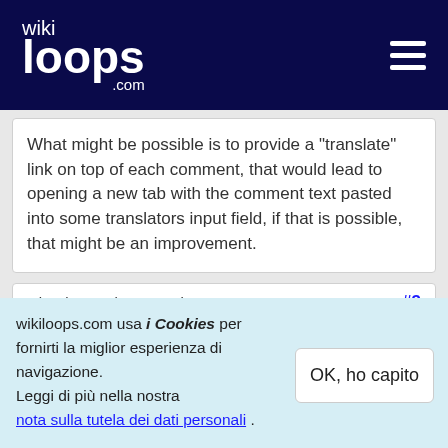wikiloops.com [navigation menu]
What might be possible is to provide a "translate" link on top of each comment, that would lead to opening a new tab with the comment text pasted into some translators input field, if that is possible, that might be an improvement.
Girard posted on Maggio 27 2016 15:27  #3
Oh yeah your suggestion would go a long way! Thank you Dick for taking the time to explain all of this, and for
wikiloops.com usa i Cookies per fornirti la miglior esperienza di navigazione.
Leggi di più nella nostra
nota sulla tutela dei dati personali .